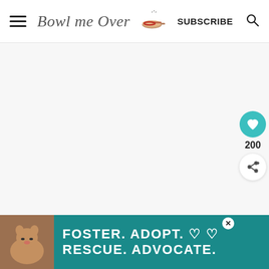Bowl me Over — SUBSCRIBE
[Figure (screenshot): Large blank/white content area in the middle of the page (main article image area)]
[Figure (infographic): Sidebar with teal heart button, 200 count label, and share button]
[Figure (infographic): What's Next card showing an image thumbnail and 'Easy Lemon Bar Recipe' label]
You'll want a heavy bottom pan
[Figure (infographic): Advertisement banner: FOSTER. ADOPT. RESCUE. ADVOCATE. with dog image]